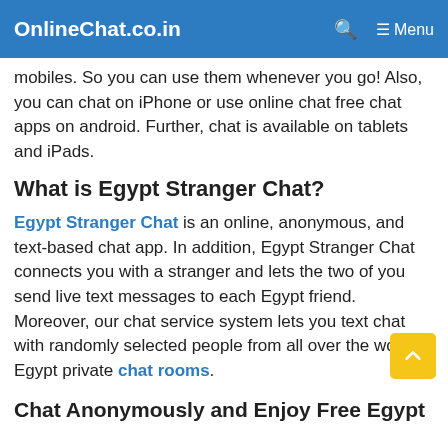OnlineChat.co.in   🔍   ☰ Menu
mobiles. So you can use them whenever you go! Also, you can chat on iPhone or use online chat free chat apps on android. Further, chat is available on tablets and iPads.
What is Egypt Stranger Chat?
Egypt Stranger Chat is an online, anonymous, and text-based chat app. In addition, Egypt Stranger Chat connects you with a stranger and lets the two of you send live text messages to each Egypt friend. Moreover, our chat service system lets you text chat with randomly selected people from all over the world in Egypt private chat rooms.
Chat Anonymously and Enjoy Free Egypt